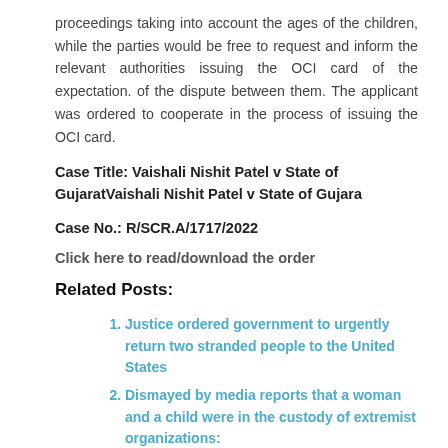proceedings taking into account the ages of the children, while the parties would be free to request and inform the relevant authorities issuing the OCI card of the expectation. of the dispute between them. The applicant was ordered to cooperate in the process of issuing the OCI card.
Case Title: Vaishali Nishit Patel v State of GujaratVaishali Nishit Patel v State of Gujara
Case No.: R/SCR.A/1717/2022
Click here to read/download the order
Related Posts:
Justice ordered government to urgently return two stranded people to the United States
Dismayed by media reports that a woman and a child were in the custody of extremist organizations: